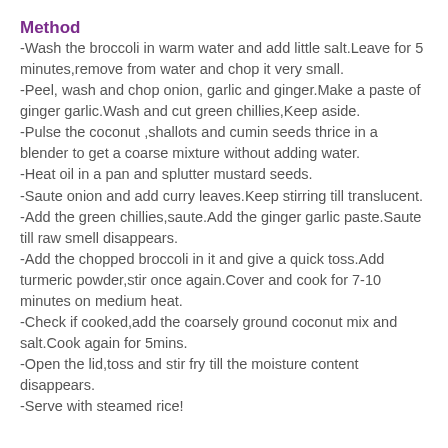Method
-Wash the broccoli in warm water and add little salt.Leave for 5 minutes,remove from water and chop it very small.
-Peel, wash and chop onion, garlic and ginger.Make a paste of ginger garlic.Wash and cut green chillies,Keep aside.
-Pulse the coconut ,shallots and cumin seeds thrice in a blender to get a coarse mixture without adding water.
-Heat oil in a pan and splutter mustard seeds.
-Saute onion and add curry leaves.Keep stirring till translucent.
-Add the green chillies,saute.Add the ginger garlic paste.Saute till raw smell disappears.
-Add the chopped broccoli in it and give a quick toss.Add turmeric powder,stir once again.Cover and cook for 7-10 minutes on medium heat.
-Check if cooked,add the coarsely ground coconut mix and salt.Cook again for 5mins.
-Open the lid,toss and stir fry till the moisture content disappears.
-Serve with steamed rice!